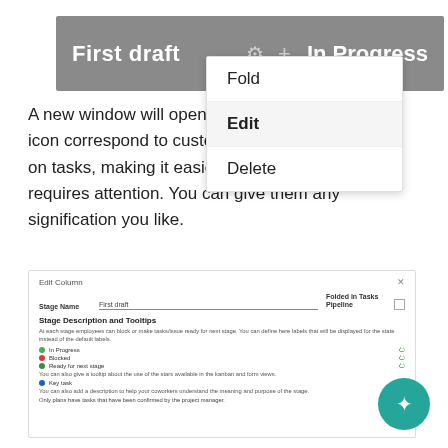[Figure (screenshot): Kanban board header showing 'First draft' column with gear and plus icons, and 'In Progress' label, with a dropdown menu open showing options: Fold, Edit (highlighted), Delete]
A new window will open. The color dots and star icon correspond to customizable markers applied on tasks, making it easier to know what task requires attention. You can give them any signification you like.
[Figure (screenshot): Edit Column dialog form with Stage Name field showing 'First draft', Folded in Tasks Pipeline checkbox, Stage Description and Tooltips section with colored dots for In Progress, Blocked, Ready for next stage, Key task rows, and descriptive text]